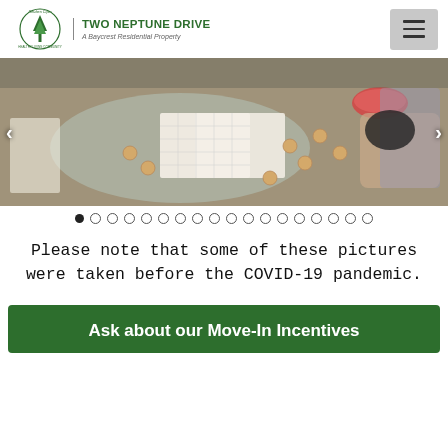Reuben Cipin | TWO NEPTUNE DRIVE | A Baycrest Residential Property
[Figure (photo): A bingo game in progress on a glass table, with bingo cards, wooden numbered pieces, and a person's hands. Slideshow navigation arrows on left and right.]
Please note that some of these pictures were taken before the COVID-19 pandemic.
Ask about our Move-In Incentives